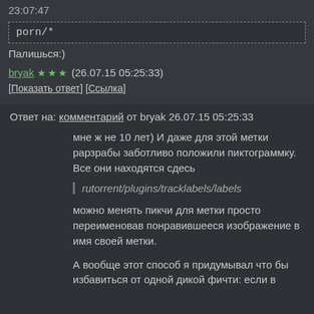23:07:47
porn/*
Палишься:)
bryak ★★★ (26.07.15 05:25:33)
[Показать ответ] [Ссылка]
Ответ на: комментарий от bryak 26.07.15 05:25:33
мне ж не 10 лет) И даже для этой метки рарзрабы заботливо положили пиктограммку. Все они находятся сдесь
rutorrent/plugins/tracklabels/labels
можно менять пикчи для метки просто переименовав понравившееся изображение в имя своей метки.
А вообще этот способ я придумывал что бы избавиться от одной дикой фичти: если в